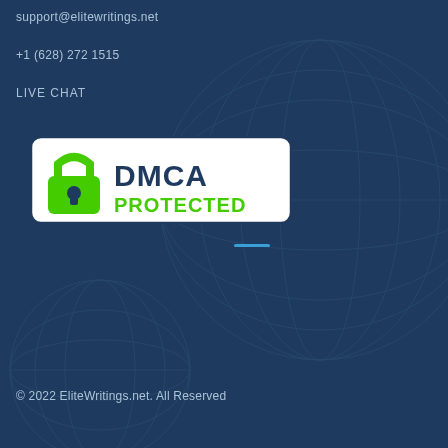support@elitewritings.net
+1 (628) 272 1515
LIVE CHAT
[Figure (logo): DMCA Protected badge with green padlock icon and DMCA PROTECTED text in navy and green on white rounded rectangle background]
© 2022 EliteWritings.net. All Rights Reserved